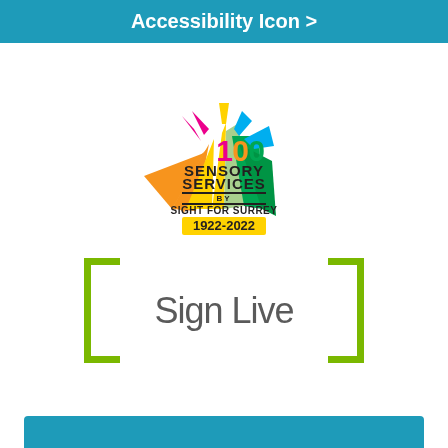Accessibility Icon >
[Figure (logo): Sensory Services by Sight for Surrey 100th anniversary logo (1922-2022) with colourful fan/sunburst of triangular rays in orange, yellow, pink, blue, green and the number 100 in the centre]
[Figure (logo): SignLive logo: the word 'SignLive' in grey with green bracket characters on left and right]